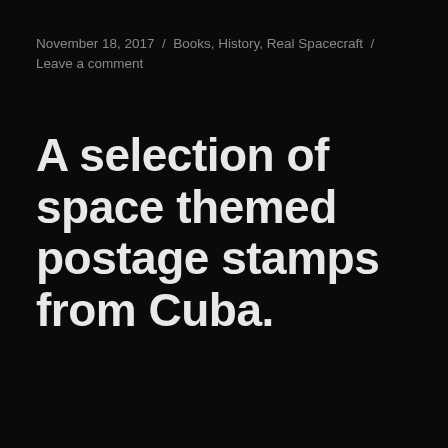November 18, 2017  /  Books, History, Real Spacecraft  /  Leave a comment
A selection of space themed postage stamps from Cuba.